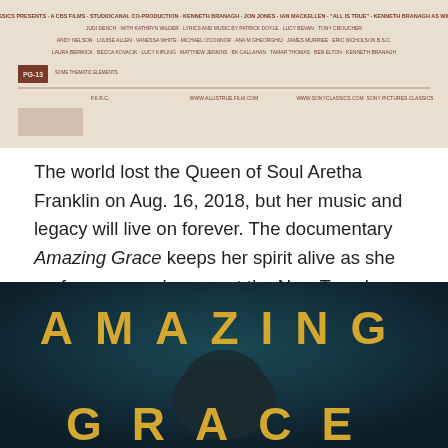[Figure (photo): Top portion of the Amazing Grace movie poster showing credits and production details in dark red text on a light beige/cream background. Small text credits visible including Sony Pictures Classics, cast names, and website URLs.]
The world lost the Queen of Soul Aretha Franklin on Aug. 16, 2018, but her music and legacy will live on forever. The documentary Amazing Grace keeps her spirit alive as she performs gospel songs at the New Temple Missionary Baptist Church in Los Angeles, California in 1972.
[Figure (photo): Movie poster for Amazing Grace showing large gold/yellow spaced lettering 'AMAZING' at top and 'GRACE' at bottom against a dark teal/navy background, with a silhouette of a person's head visible in the middle.]